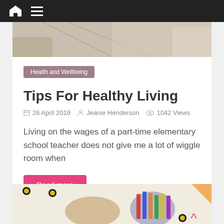Navigation bar with home icon and menu icon
[Figure (photo): Top partial image strip showing a desk or workspace, cropped view]
Health and Wellbeing
Tips For Healthy Living
26 April 2019   Jeanie Henderson   1042 Views
Living on the wages of a part-time elementary school teacher does not give me a lot of wiggle room when
Read more
[Figure (photo): Bottom partial image showing a child's hand holding a crayon next to a cup filled with colorful crayons, with decorative flower stickers on a light background]